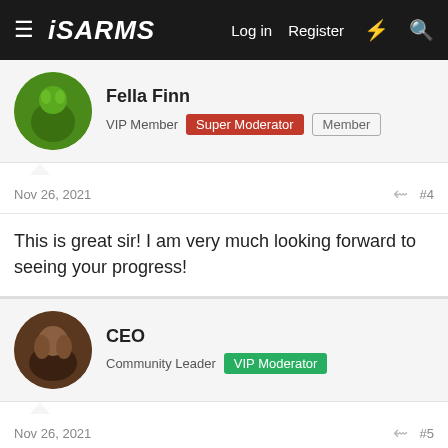iSARMS — Log in  Register
Fella Finn
VIP Member  Super Moderator  Member
Nov 26, 2021  #4
This is great sir! I am very much looking forward to seeing your progress!
CEO
Community Leader  VIP Moderator
Nov 26, 2021  #5
bros good log
stevesmi
Moderator  VIP Moderator